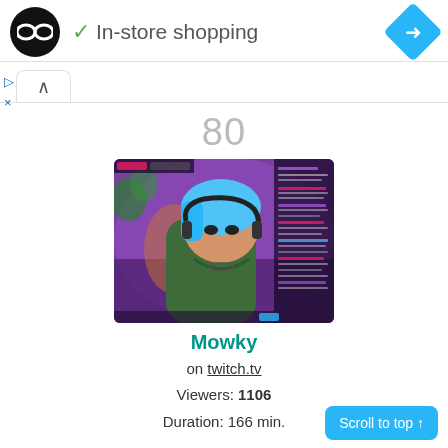[Figure (logo): Round black logo with infinity/loop symbol inside]
✓ In-store shopping
[Figure (logo): Blue diamond/rhombus shape with white right-turn arrow]
▷
×
^
80
[Figure (screenshot): Twitch stream screenshot showing a female streamer with blue/teal hair and headset wearing a green shirt, purple-lit room background, chat visible on right side]
Mowky
on twitch.tv
Viewers: 1106
Duration: 166 min.
Scroll to top ↑